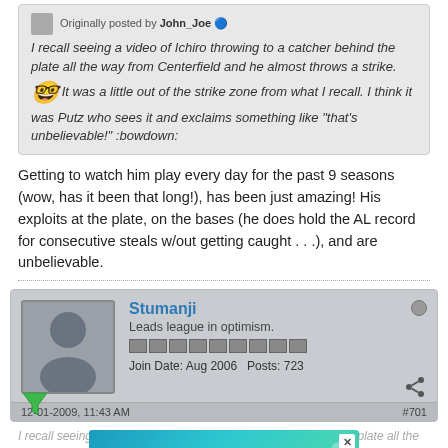Originally posted by John_Joe [verified]
I recall seeing a video of Ichiro throwing to a catcher behind the plate all the way from Centerfield and he almost throws a strike. 😲 It was a little out of the strike zone from what I recall. I think it was Putz who sees it and exclaims something like "that's unbelievable!" :bowdown:
Getting to watch him play every day for the past 9 seasons (wow, has it been that long!), has been just amazing! His exploits at the plate, on the bases (he does hold the AL record for consecutive steals w/out getting caught . . .), and are unbelievable.
Stumanji
Leads league in optimism.
Join Date: Aug 2006   Posts: 723
[Figure (screenshot): Advertisement banner for HEADERBIDDING.COM - Your source for all things programmatic advertising.]
I recall seeing a video of Ichiro throwing to a catcher behind the plate all the way from Centerfield and he almost throws a [ghost/background text]